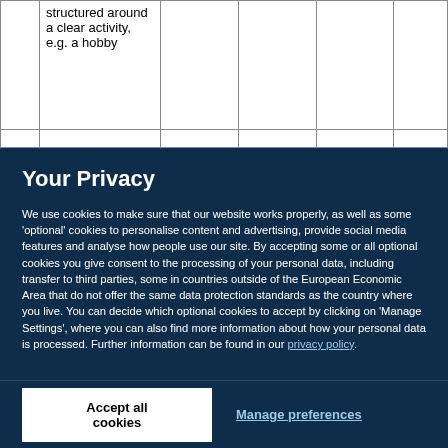| structured around a clear activity, e.g. a hobby |  |  |  |
Your Privacy
We use cookies to make sure that our website works properly, as well as some 'optional' cookies to personalise content and advertising, provide social media features and analyse how people use our site. By accepting some or all optional cookies you give consent to the processing of your personal data, including transfer to third parties, some in countries outside of the European Economic Area that do not offer the same data protection standards as the country where you live. You can decide which optional cookies to accept by clicking on 'Manage Settings', where you can also find more information about how your personal data is processed. Further information can be found in our privacy policy.
Accept all cookies
Manage preferences